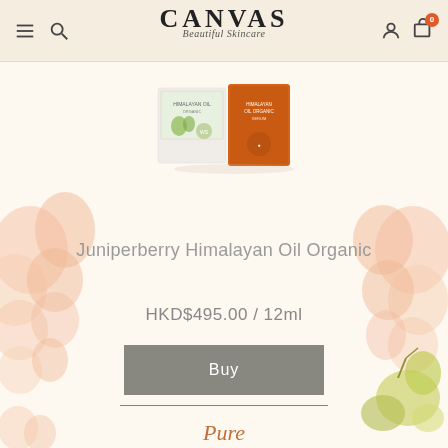CANVAS Beautiful Skincare
[Figure (photo): Product image of Juniperberry Himalayan Oil Organic — two small boxes/packages, one white with green label and one orange/rust colored]
Juniperberry Himalayan Oil Organic
HKD$495.00 / 12ml
Buy
Pure